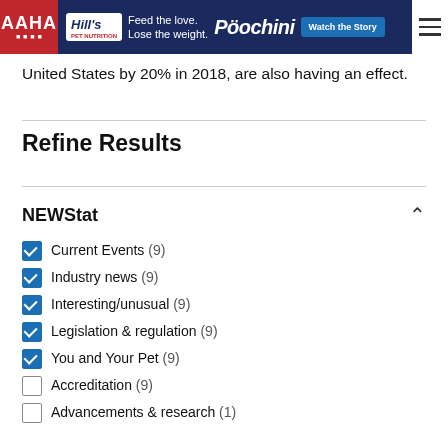AAHA | Hill's ad banner – Feed the love. Lose the weight. Poochini – Watch the Story
United States by 20% in 2018, are also having an effect.
Refine Results
NEWStat
Current Events (9) [checked]
Industry news (9) [checked]
Interesting/unusual (9) [checked]
Legislation & regulation (9) [checked]
You and Your Pet (9) [checked]
Accreditation (9) [unchecked]
Advancements & research (1) [unchecked]